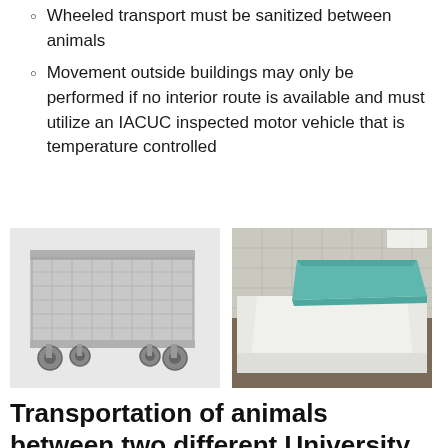Wheeled transport must be sanitized between animals
Movement outside buildings may only be performed if no interior route is available and must utilize an IACUC inspected motor vehicle that is temperature controlled
[Figure (photo): Metal wire mesh wheeled transport cart with four casters, used for animal transport]
[Figure (photo): A cart or gurney covered with white sheet and teal/green drape for covered animal transport]
Transportation of animals between two different University of Iowa Campus locations (East